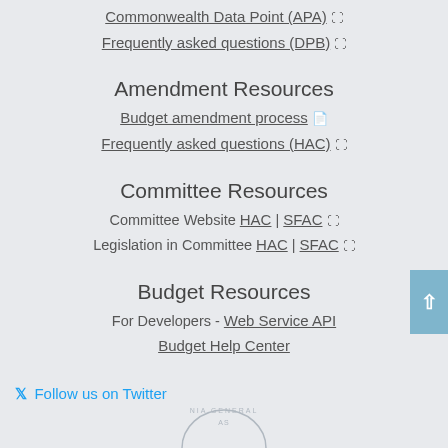Commonwealth Data Point (APA) ↗
Frequently asked questions (DPB) ↗
Amendment Resources
Budget amendment process 📄
Frequently asked questions (HAC) ↗
Committee Resources
Committee Website HAC | SFAC ↗
Legislation in Committee HAC | SFAC ↗
Budget Resources
For Developers - Web Service API
Budget Help Center
Follow us on Twitter
[Figure (logo): Virginia General Assembly seal (partial, bottom of page)]